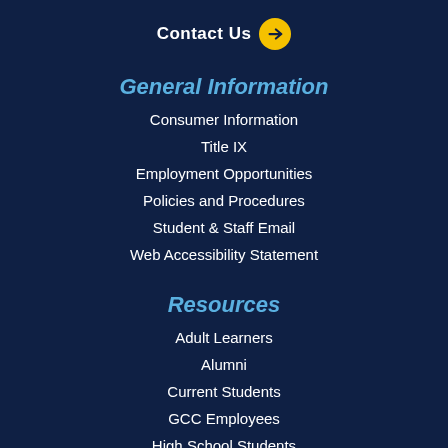Contact Us →
General Information
Consumer Information
Title IX
Employment Opportunities
Policies and Procedures
Student & Staff Email
Web Accessibility Statement
Resources
Adult Learners
Alumni
Current Students
GCC Employees
High School Students